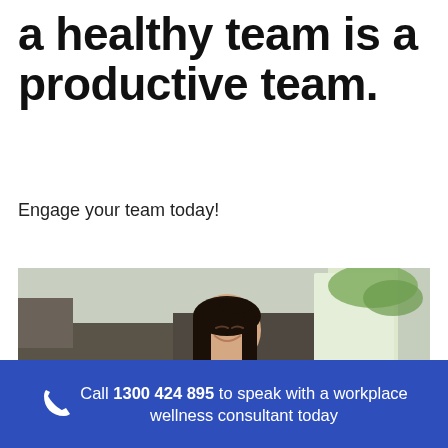a healthy team is a productive team.
Engage your team today!
[Figure (photo): Young woman smiling while looking downward, seated near a couch in a bright home environment with large windows and greenery visible in the background.]
Call 1300 424 895 to speak with a workplace wellness consultant today